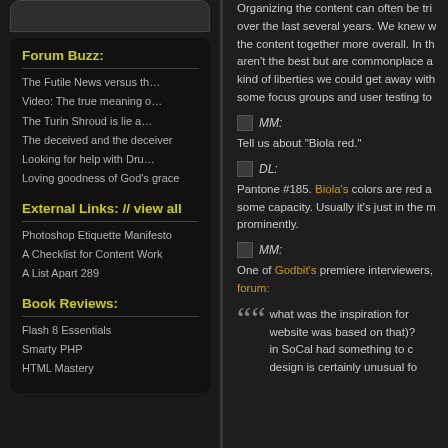Forum Buzz:
The Futile News versus th…
Video: The true meaning o…
The Turin Shroud is lie a…
The deceived and the deceiver
Looking for help with Dru…
Loving goodness of God's grace
External Links: // view all
Photoshop Etiquette Manifesto
A Checklist for Content Work
A List Apart 289
Book Reviews:
Flash 8 Essentials
Smarty PHP
HTML Mastery
Organizing the content can often be tri... over the last several years. We knew w... the content together more overall. In th... aren't the best but are commonplace a... kind of liberties we could get away with... some focus groups and user testing to...
MM:
Tell us about "Biola red."
DL:
Pantone #185. Biola's colors are red a... some capacity. Usually it's just in the m... prominently.
MM:
One of Godbit's premiere interviewers,... forum:
what was the inspiration for... website was based on that)?... in SoCal had something to c... design is certainly unusual fo...